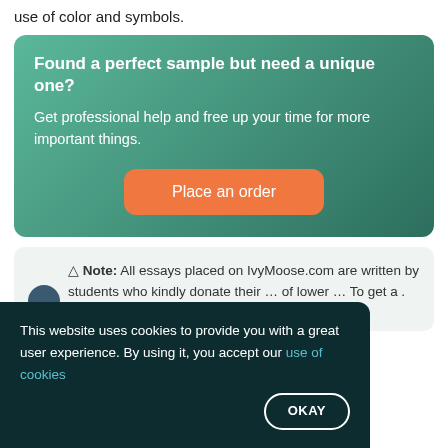use of color and symbols.
Found a perfect sample but need a unique one?
Get professional help and free up your time for more important things.
Place an order
△ Note: All essays placed on IvyMoose.com are written by students who kindly donate their ... of lower ... To get a ...
This website uses cookies to provide you with a great user experience. By using it, you accept our use of cookies
OKAY